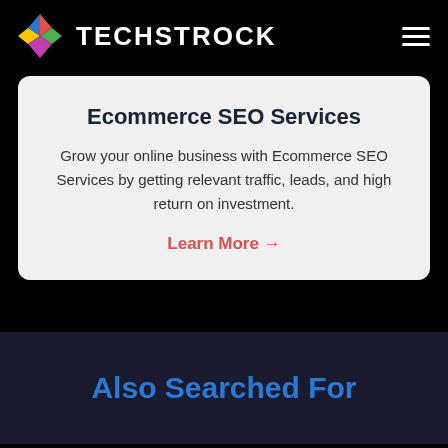TECHSTROCK
Ecommerce SEO Services
Grow your online business with Ecommerce SEO Services by getting relevant traffic, leads, and high return on investment.
Learn More →
Also Searched For